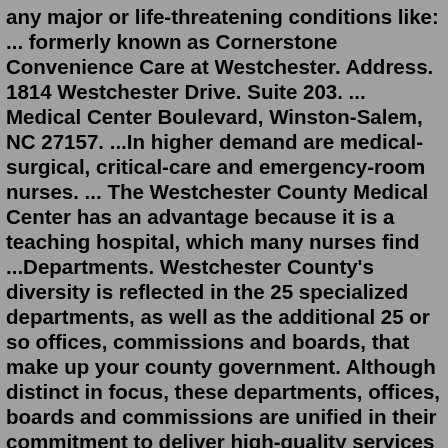any major or life-threatening conditions like: ... formerly known as Cornerstone Convenience Care at Westchester. Address. 1814 Westchester Drive. Suite 203. ... Medical Center Boulevard, Winston-Salem, NC 27157. ...In higher demand are medical-surgical, critical-care and emergency-room nurses. ... The Westchester County Medical Center has an advantage because it is a teaching hospital, which many nurses find ...Departments. Westchester County's diversity is reflected in the 25 specialized departments, as well as the additional 25 or so offices, commissions and boards, that make up your county government. Although distinct in focus, these departments, offices, boards and commissions are unified in their commitment to deliver high-quality services to ...Jun 20, 2018 · Emergency Department ACP Location Taylor Way Lot 1 Lot 2 Taylor Pavilion MFCH Westview Drive A B Behavioral Health Center Sleep Center Woods Road Lot 1 Taylor Pavilion North Lot 10 Lot 9 Lot 8 Lot 6/ Parking Garage Lot 7 Construction Parking Lot 5 Lot 3 Lot 16 Lot 15